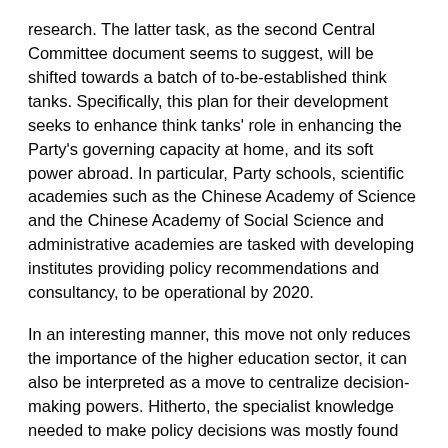research. The latter task, as the second Central Committee document seems to suggest, will be shifted towards a batch of to-be-established think tanks. Specifically, this plan for their development seeks to enhance think tanks' role in enhancing the Party's governing capacity at home, and its soft power abroad. In particular, Party schools, scientific academies such as the Chinese Academy of Science and the Chinese Academy of Social Science and administrative academies are tasked with developing institutes providing policy recommendations and consultancy, to be operational by 2020.
In an interesting manner, this move not only reduces the importance of the higher education sector, it can also be interpreted as a move to centralize decision-making powers. Hitherto, the specialist knowledge needed to make policy decisions was mostly found within ministries. This gave them considerable power vis-à-vis the central leadership, as well as ample opportunities for obfuscation, to deflect demands from higher up and shirk responsibility. The successive new leading groups and commissions created in the wake of the 3rd Plenum took a considerable chunk of policy responsibilities away from the state bureaucracy, but therefore require comprehensive knowledge and information input. Furthermore, research by bodies whose primary allegiance is not their supervisory ministry can function as an additional layer of internal oversight and accountability, as these think tanks will